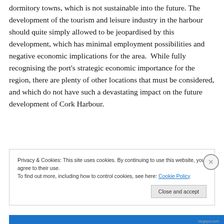dormitory towns, which is not sustainable into the future. The development of the tourism and leisure industry in the harbour should quite simply allowed to be jeopardised by this development, which has minimal employment possibilities and negative economic implications for the area.  While fully recognising the port's strategic economic importance for the region, there are plenty of other locations that must be considered, and which do not have such a devastating impact on the future development of Cork Harbour.
Privacy & Cookies: This site uses cookies. By continuing to use this website, you agree to their use.
To find out more, including how to control cookies, see here: Cookie Policy